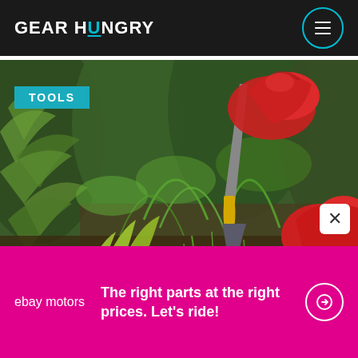GEARHUNGRY
[Figure (photo): Person wearing red gardening gloves using a small hand trowel/shovel in a lush green garden with ferns and plants]
TOOLS
[Figure (infographic): eBay Motors advertisement banner: 'The right parts at the right prices. Let's ride!' on magenta/pink background with ebay motors logo and arrow button]